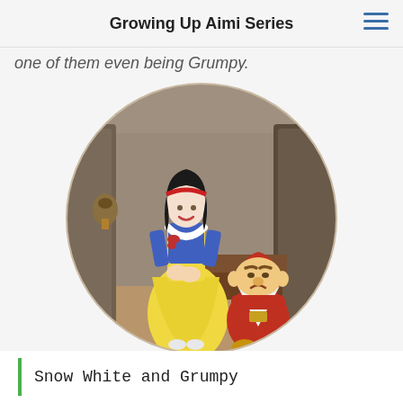Growing Up Aimi Series
one of them even being Grumpy.
[Figure (illustration): A circular decorative plate depicting Snow White in her classic yellow and blue dress standing next to Grumpy the dwarf in his red outfit, set inside a stone interior background.]
Snow White and Grumpy